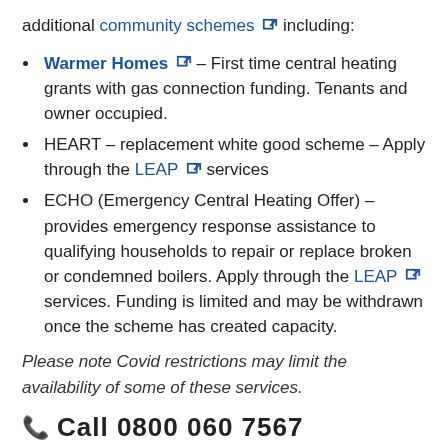additional community schemes including:
Warmer Homes – First time central heating grants with gas connection funding. Tenants and owner occupied.
HEART – replacement white good scheme – Apply through the LEAP services
ECHO (Emergency Central Heating Offer) – provides emergency response assistance to qualifying households to repair or replace broken or condemned boilers. Apply through the LEAP services. Funding is limited and may be withdrawn once the scheme has created capacity.
Please note Covid restrictions may limit the availability of some of these services.
Call 0800 060 7567